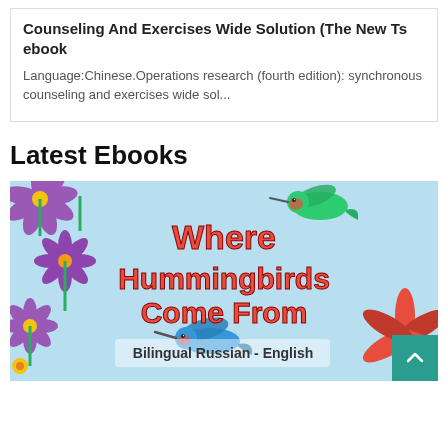Counseling And Exercises Wide Solution (The New Ts ebook
Language:Chinese.Operations research (fourth edition): synchronous counseling and exercises wide sol...
Latest Ebooks
[Figure (illustration): Book cover illustration for 'Where Hummingbirds Come From Bilingual Russian - English'. Shows cartoon hummingbirds (green and blue), purple flowers, red flowers, on a light blue background. Title text in bold red letters.]